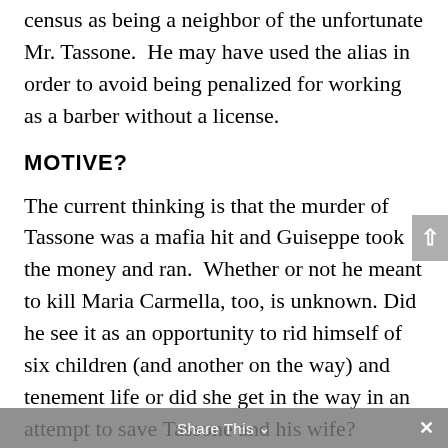census as being a neighbor of the unfortunate Mr. Tassone.  He may have used the alias in order to avoid being penalized for working as a barber without a license.
MOTIVE?
The current thinking is that the murder of Tassone was a mafia hit and Guiseppe took the money and ran.  Whether or not he meant to kill Maria Carmella, too, is unknown. Did he see it as an opportunity to rid himself of six children (and another on the way) and tenement life or did she get in the way in an attempt to save Tassone and his wife?
Share This ∨   ×